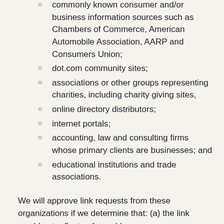commonly known consumer and/or business information sources such as Chambers of Commerce, American Automobile Association, AARP and Consumers Union;
dot.com community sites;
associations or other groups representing charities, including charity giving sites,
online directory distributors;
internet portals;
accounting, law and consulting firms whose primary clients are businesses; and
educational institutions and trade associations.
We will approve link requests from these organizations if we determine that: (a) the link would not reflect unfavorably on us or our accredited businesses (for example, trade associations or other organizations representing inherently suspect types of business, such as work-at-home opportunities, shall not be allowed to link); (b)the organization does not have an unsatisfactory record with us; (c) the benefit to us from the visibility